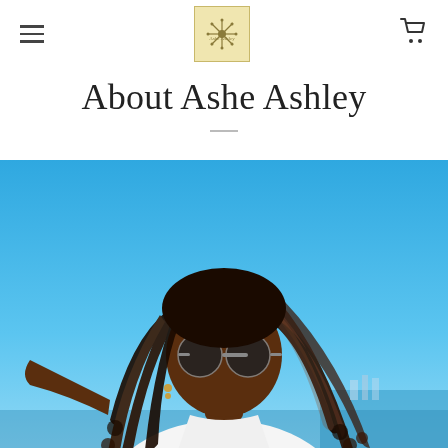Navigation header with hamburger menu, logo, and cart icon
About Ashe Ashley
[Figure (photo): Photo of Ashe Ashley — a woman with long braided locs wearing round sunglasses and a white top, taking a selfie against a bright blue sky near the ocean]